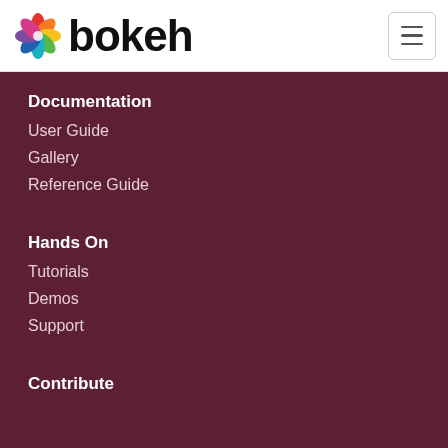[Figure (logo): Bokeh logo: colored pinwheel/aperture SVG icon followed by the text 'bokeh' in bold black sans-serif]
Documentation
User Guide
Gallery
Reference Guide
Hands On
Tutorials
Demos
Support
Contribute